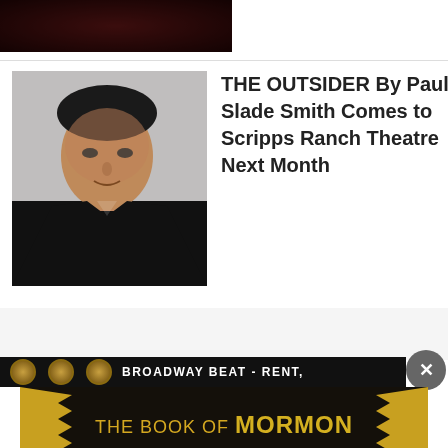[Figure (photo): Partial top image strip showing dark reddish theater/performance scene]
[Figure (photo): Headshot of a man in a dark suit against a grey background]
THE OUTSIDER By Paul Slade Smith Comes to Scripps Ranch Theatre Next Month
[Figure (infographic): Broadway Beat - Rent advertisement banner. The Book of Mormon. GET 2-FOR-1 TICKETS DURING NYC BROADWAY WEEK. SEPTEMBER 6-25. USE CODE BWAYWK. GET TICKETS button.]